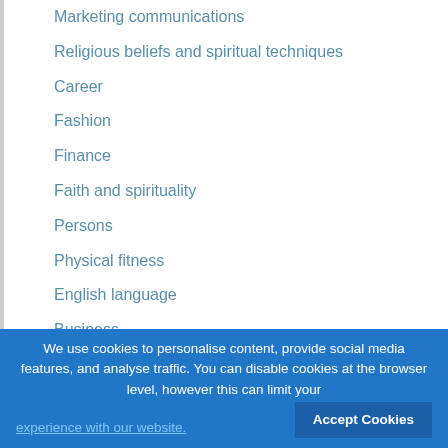Marketing communications
Religious beliefs and spiritual techniques
Career
Fashion
Finance
Faith and spirituality
Persons
Physical fitness
English language
Business
Social issues
Style and style
Artwork and entertainment
Lifestyle
We use cookies to personalise content, provide social media features, and analyse traffic. You can disable cookies at the browser level, however this can limit your experience with our website.